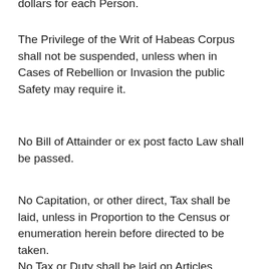dollars for each Person.
The Privilege of the Writ of Habeas Corpus shall not be suspended, unless when in Cases of Rebellion or Invasion the public Safety may require it.
No Bill of Attainder or ex post facto Law shall be passed.
No Capitation, or other direct, Tax shall be laid, unless in Proportion to the Census or enumeration herein before directed to be taken.
No Tax or Duty shall be laid on Articles